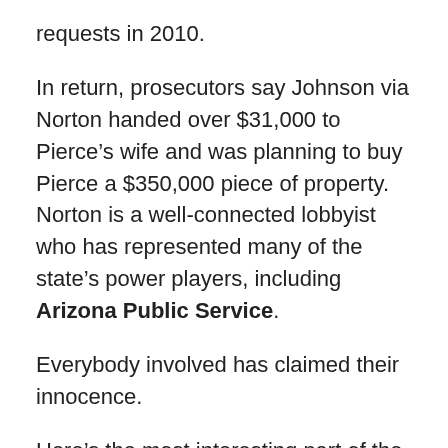requests in 2010.
In return, prosecutors say Johnson via Norton handed over $31,000 to Pierce’s wife and was planning to buy Pierce a $350,000 piece of property. Norton is a well-connected lobbyist who has represented many of the state’s power players, including Arizona Public Service.
Everybody involved has claimed their innocence.
Here’s the most interesting part of the case: the U.S. Attorney’s Office last summer acknowledged that it stumbling across the bribery case while working a larger investigation.
“The facts that resulted in the indictment of your clients were discovered during a much larger and more intensive investigation.” Assistant U.S. Attorneys Fred